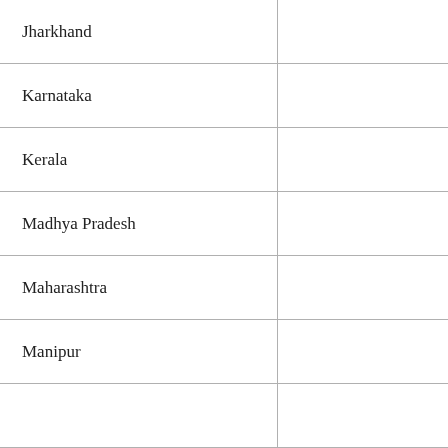| Jharkhand |  |
| Karnataka |  |
| Kerala |  |
| Madhya Pradesh |  |
| Maharashtra |  |
| Manipur |  |
|  |  |